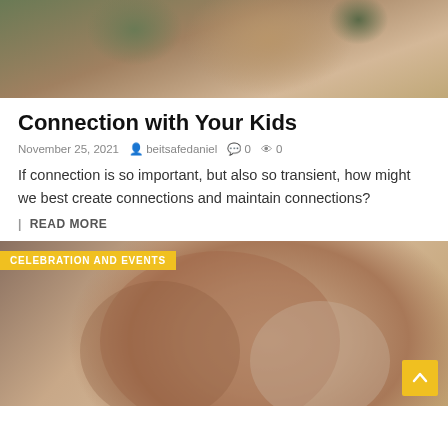[Figure (photo): A man carrying two children on his shoulders outdoors with green trees in background]
Connection with Your Kids
November 25, 2021   beitsafedaniel   0   0
If connection is so important, but also so transient, how might we best create connections and maintain connections?
| READ MORE
[Figure (photo): Two people sitting together, a large man and a blonde woman, warm-toned background with CELEBRATION AND EVENTS category badge]